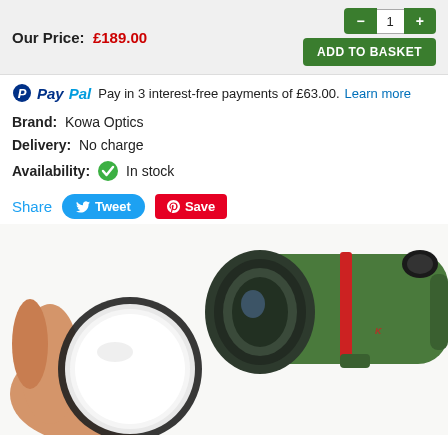Our Price: £189.00
PayPal Pay in 3 interest-free payments of £63.00. Learn more
Brand: Kowa Optics
Delivery: No charge
Availability: In stock
Share  Tweet  Save
[Figure (photo): Product photo of a Kowa Optics spotting scope (green body with red accent ring) being held by a hand, with a large circular glass filter/lens cap being attached to the objective lens end.]